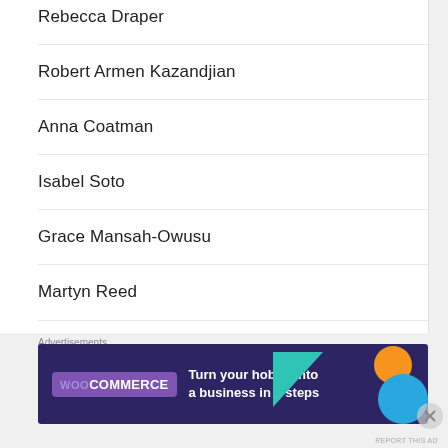Rebecca Draper
Robert Armen Kazandjian
Anna Coatman
Isabel Soto
Grace Mansah-Owusu
Martyn Reed
Ada Mau
Amirah Iqbal
[Figure (infographic): WooCommerce advertisement banner: dark purple background with green triangle, orange circle, blue circle shapes. Text reads 'WooCommerce - Turn your hobby into a business in 8 steps']
Advertisements
REPORT THIS AD